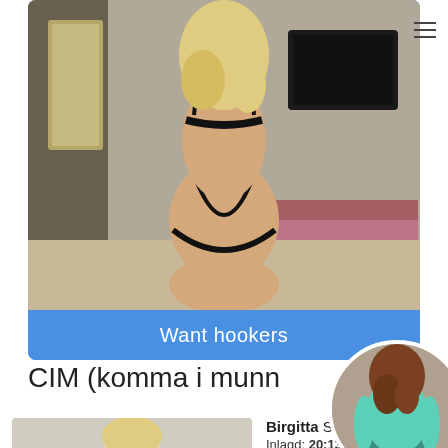[Figure (photo): Main photo on blue card showing a person from behind in black swimwear]
Want hookers
CIM (komma i munn
[Figure (photo): Small bottom-left photo showing a blonde person]
Birgitta Sta
Inlagd: 20:13 05.10.2020
[Figure (photo): Circular profile photo of a person in teal top and jeans shorts from behind]